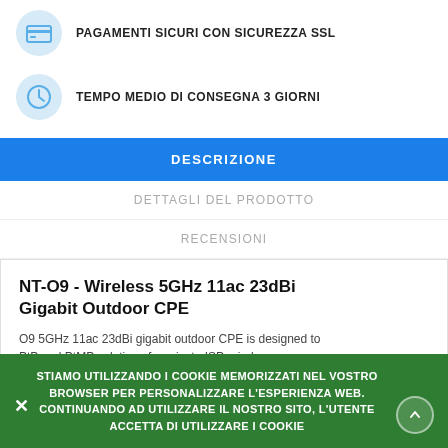PAGAMENTI SICURI CON SICUREZZA SSL
TEMPO MEDIO DI CONSEGNA 3 GIORNI
DESCRIZIONE
DETTAGLI DEL PRODOTTO
RECENSIONI
NT-O9 - Wireless 5GHz 11ac 23dBi Gigabit Outdoor CPE
O9 5GHz 11ac 23dBi gigabit outdoor CPE is designed to PtP and PtMP solutions for private ISP, wireless connectivity, CCTV surveillance and data transmission. It features with 23dBi high-gain directional antenna
STIAMO UTILIZZANDO I COOKIE MEMORIZZATI NEL VOSTRO BROWSER PER PERSONALIZZARE L'ESPERIENZA WEB. CONTINUANDO AD UTILIZZARE IL NOSTRO SITO, L'UTENTE ACCETTA DI UTILIZZARE I COOKIE